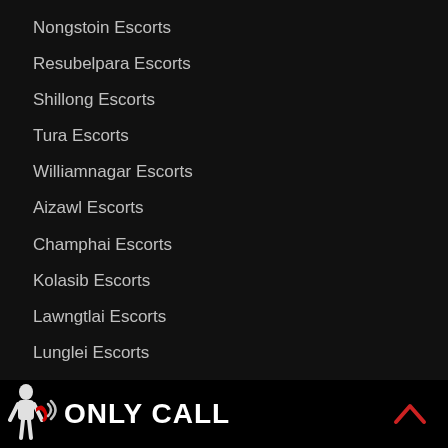Nongstoin Escorts
Resubelpara Escorts
Shillong Escorts
Tura Escorts
Williamnagar Escorts
Aizawl Escorts
Champhai Escorts
Kolasib Escorts
Lawngtlai Escorts
Lunglei Escorts
Mamit Escorts
Saiha Escorts
Serchhip Escorts
ONLY CALL